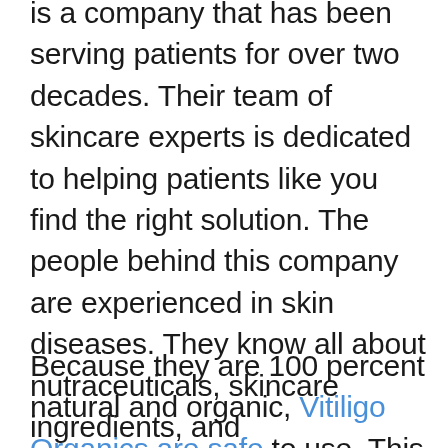is a company that has been serving patients for over two decades. Their team of skincare experts is dedicated to helping patients like you find the right solution. The people behind this company are experienced in skin diseases. They know all about nutraceuticals, skincare ingredients, and pharmaceuticals. And with that knowledge and experience, they have created a revolutionary product: Vitiligo Organics. It is the leading natural treatment for Vitiligo.
Because they are 100 percent natural and organic, Vitiligo Organics are safe to use. This product is made with certified, non-GMO ingredients and has no known side effects. In addition, the company follows GMP standards to ensure the safety and